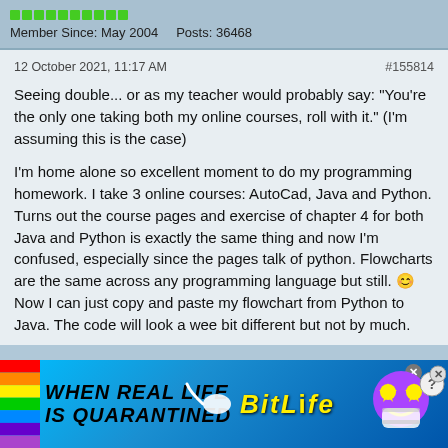[Figure (screenshot): Green reputation bars (10 green squares in a row) indicating user reputation level]
Member Since: May 2004    Posts: 36468
12 October 2021, 11:17 AM
#155814
Seeing double... or as my teacher would probably say: "You're the only one taking both my online courses, roll with it." (I'm assuming this is the case)

I'm home alone so excellent moment to do my programming homework. I take 3 online courses: AutoCad, Java and Python. Turns out the course pages and exercise of chapter 4 for both Java and Python is exactly the same thing and now I'm confused, especially since the pages talk of python. Flowcharts are the same across any programming language but still. 😊 Now I can just copy and paste my flowchart from Python to Java. The code will look a wee bit different but not by much.
[Figure (screenshot): BitLife advertisement banner with rainbow, text 'WHEN REAL LIFE IS QUARANTINED', BitLife logo, sperm emoji, and game character icons with mask]